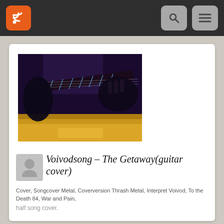[Figure (screenshot): Website screenshot showing a music blog/RSS reader page with a dark navigation bar at top containing an orange RSS icon button and two grey icon buttons (search and menu). Below is a light grey background with a white card containing a thumbnail image of hands playing guitar, followed by an avatar placeholder, post title in italic serif font, metadata tags, and a short description.]
Voivodsong – The Getaway(guitar cover)
Cover, Songcover Metal, Coverversion Thrash Metal, Interpret Voivod, To the Death 84, War and Pain,
half song cover.